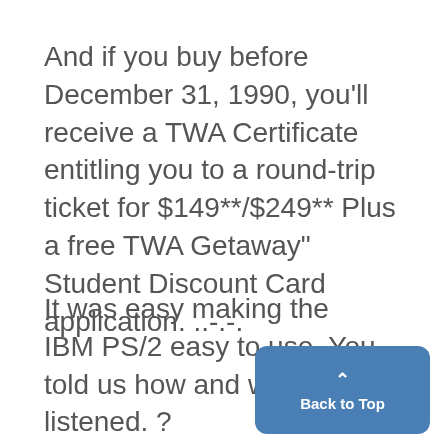And if you buy before December 31, 1990, you'll receive a TWA Certificate entitling you to a round-trip ticket for $149**/$249** Plus a free TWA Getaway" Student Discount Card application. ..-.-.
It was easy making the IBM PS/2 easy to use. You told us how and we listened. ?